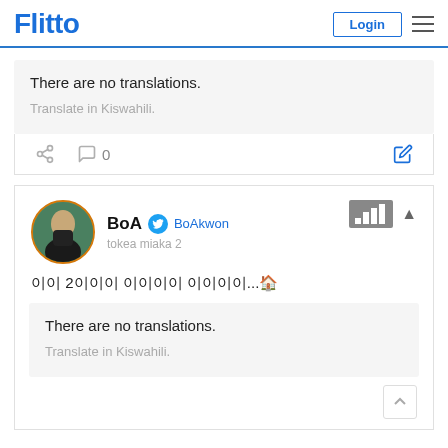Flitto  Login  ☰
There are no translations.
Translate in Kiswahili.
○ 0
BoA  BoAkwon  tokea miaka 2
이이 2이이이 이이이이 이이이이...🏠
There are no translations.
Translate in Kiswahili.